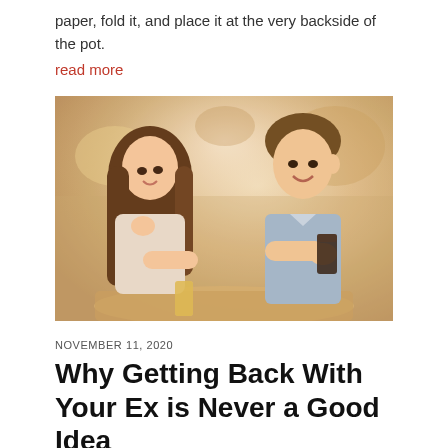paper, fold it, and place it at the very backside of the pot.
read more
[Figure (photo): A young couple sitting at a café table, smiling and laughing together. The woman with long brown hair rests her chin on her hand smiling, and the man in a light blue shirt holds a glass of dark soda, leaning toward her. Warm restaurant background.]
NOVEMBER 11, 2020
Why Getting Back With Your Ex is Never a Good Idea